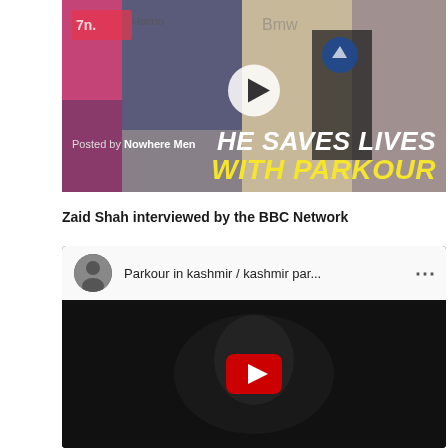[Figure (screenshot): Facebook video thumbnail showing a person doing parkour in front of graffiti wall. White text reads 'HE SAVES LIVES' and yellow text reads 'WITH PARKOUR'. A circular play button is centered. At bottom left: 'Posted by Nowhere Men'.]
Zaid Shah interviewed by the BBC Network
[Figure (screenshot): YouTube embedded video player showing 'Parkour in kashmir / kashmir par...' with a channel avatar, three-dot menu icon, and a dark video frame with the YouTube play button (red with white triangle) centered.]